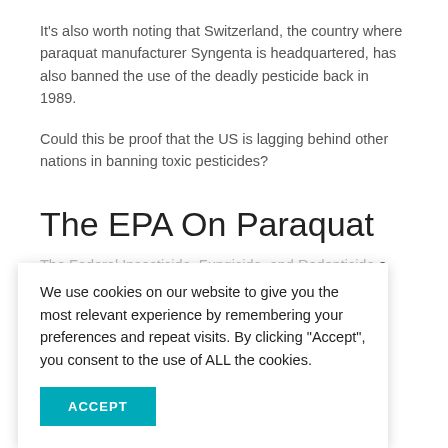It's also worth noting that Switzerland, the country where paraquat manufacturer Syngenta is headquartered, has also banned the use of the deadly pesticide back in 1989.
Could this be proof that the US is lagging behind other nations in banning toxic pesticides?
The EPA On Paraquat
The Federal Insecticide, Fungicide, and Rodenticide Act (FIFRA) ... (EPA) to register ... an initial ... needs to undergo
... pesticide ... proven by recent ... the agency ... ocess, the EPA asked the public for feedback and comments on the weed killer.
We use cookies on our website to give you the most relevant experience by remembering your preferences and repeat visits. By clicking "Accept", you consent to the use of ALL the cookies.